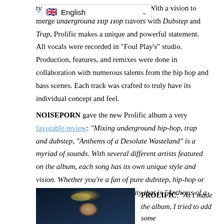ty... lication. With a vision to merge underground Hip Hop flavors with Dubstep and Trap, Prolific makes a unique and powerful statement. All vocals were recorded in "Foul Play's" studio. Production, features, and remixes were done in collaboration with numerous talents from the hip hop and bass scenes. Each track was crafted to truly have its individual concept and feel.
NOISEPORN gave the new Prolific album a very favorable review: "Mixing underground hip-hop, trap and dubstep, "Anthems of a Desolate Wasteland" is a myriad of sounds. With several different artists featured on the album, each song has its own unique style and vision. Whether you're a fan of pure dubstep, hip-hop or both, you'll appreciate the diversity that is "Anthems of a Desolate Wasteland."
[Figure (photo): Dark photo of a person with light hair against a dark blue background]
PROLIFIC: "As I made the album, I tried to add some